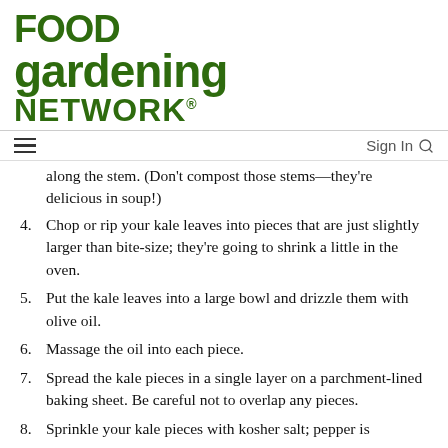[Figure (logo): Food Gardening Network logo in dark green bold text]
≡   Sign In 🔍
along the stem. (Don't compost those stems—they're delicious in soup!)
4. Chop or rip your kale leaves into pieces that are just slightly larger than bite-size; they're going to shrink a little in the oven.
5. Put the kale leaves into a large bowl and drizzle them with olive oil.
6. Massage the oil into each piece.
7. Spread the kale pieces in a single layer on a parchment-lined baking sheet. Be careful not to overlap any pieces.
8. Sprinkle your kale pieces with kosher salt; pepper is